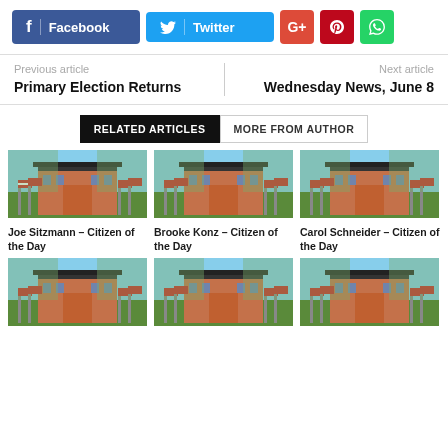[Figure (other): Social media sharing buttons: Facebook, Twitter, Google+, Pinterest, WhatsApp]
Previous article
Primary Election Returns
Next article
Wednesday News, June 8
RELATED ARTICLES
MORE FROM AUTHOR
[Figure (photo): Building with American flags]
Joe Sitzmann – Citizen of the Day
[Figure (photo): Building with American flags]
Brooke Konz – Citizen of the Day
[Figure (photo): Building with American flags]
Carol Schneider – Citizen of the Day
[Figure (photo): Building with American flags (row 2, col 1)]
[Figure (photo): Building with American flags (row 2, col 2)]
[Figure (photo): Building with American flags (row 2, col 3)]